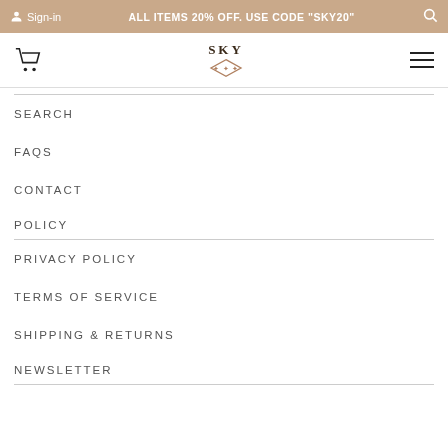Sign-in | ALL ITEMS 20% OFF. USE CODE "SKY20"
[Figure (logo): SKY brand logo with decorative diamond shape]
SEARCH
FAQS
CONTACT
POLICY
PRIVACY POLICY
TERMS OF SERVICE
SHIPPING & RETURNS
NEWSLETTER